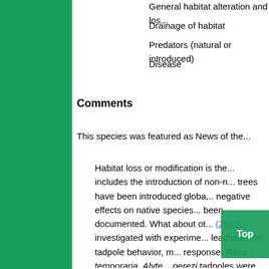[Figure (illustration): Green sidebar panel on the left side of the page]
General habitat alteration and los...
Drainage of habitat
Predators (natural or introduced)
Disease
Comments
This species was featured as News of the...
Habitat loss or modification is the... includes the introduction of non-n... trees have been introduced globa... negative effects on native species... been documented. What about ot... (2022) investigated with experime... leachates on tadpole behavior, m... response. Rana temporaria, Alyte... perezi tadpoles were raised in me... exotic eucalypt leachates then ex... authors found that while anti-pred... significantly affected, tadpoles rai... smaller and had weaker immune ... morphology of P. perezi tadpoles... to the stress morph... other... tadpoles' ability to e... edat... Although species v... spon... poor nutrient content and high tox...